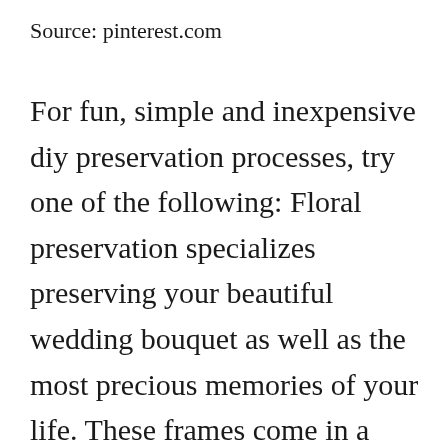Source: pinterest.com
For fun, simple and inexpensive diy preservation processes, try one of the following: Floral preservation specializes preserving your beautiful wedding bouquet as well as the most precious memories of your life. These frames come in a variety of sizes and even styles. We are a small family business, we are very dedicated and proud of what we do. Your bouquet is almost as beautiful and full of life as the day of your wedding.